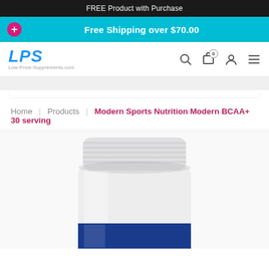FREE Product with Purchase
Free Shipping over $70.00
LPS Low-Price-Supplements.com
Home | Products | Modern Sports Nutrition Modern BCAA+ 30 serving
[Figure (photo): White plastic supplement bottle with blue label, top portion visible showing cap and shoulder of container]